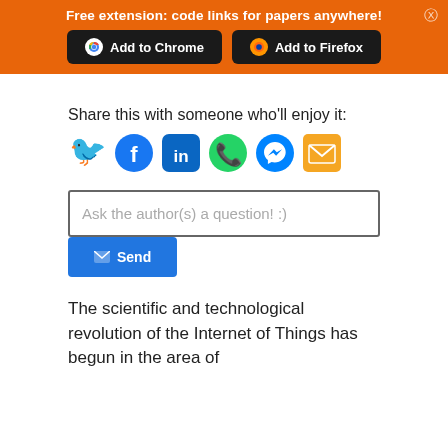[Figure (screenshot): Orange banner with text 'Free extension: code links for papers anywhere!' and two dark buttons: 'Add to Chrome' and 'Add to Firefox', with a close X button on the right.]
Share this with someone who'll enjoy it:
[Figure (infographic): Row of six social share icons: Twitter (blue bird), Facebook (blue circle f), LinkedIn (blue in), WhatsApp (green phone), Messenger (blue gradient), Email (orange envelope)]
Ask the author(s) a question! :)
Send
The scientific and technological revolution of the Internet of Things has begun in the area of